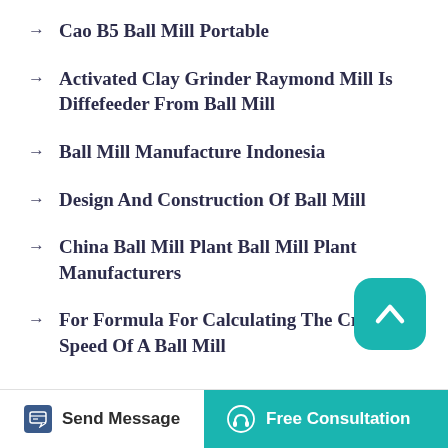Cao B5 Ball Mill Portable
Activated Clay Grinder Raymond Mill Is Diffefeeder From Ball Mill
Ball Mill Manufacture Indonesia
Design And Construction Of Ball Mill
China Ball Mill Plant Ball Mill Plant Manufacturers
For Formula For Calculating The Critical Speed Of A Ball Mill
[Figure (other): Scroll to top button — teal rounded square with upward chevron arrow icon]
[Figure (other): Footer bar with Send Message button on left and Free Consultation teal button on right with headset icon]